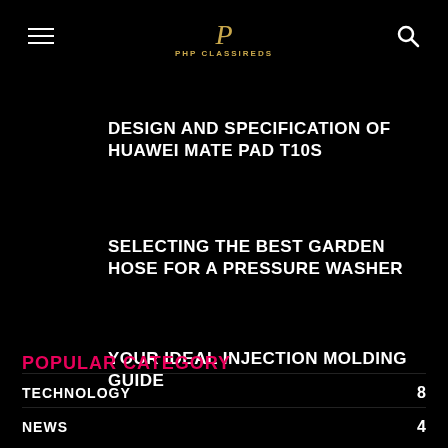PHP CLASSIREDS
DESIGN AND SPECIFICATION OF HUAWEI MATE PAD T10S
SELECTING THE BEST GARDEN HOSE FOR A PRESSURE WASHER
YOUR IDEAL INJECTION MOLDING GUIDE
POPULAR CATEGORY
TECHNOLOGY 8
NEWS 4